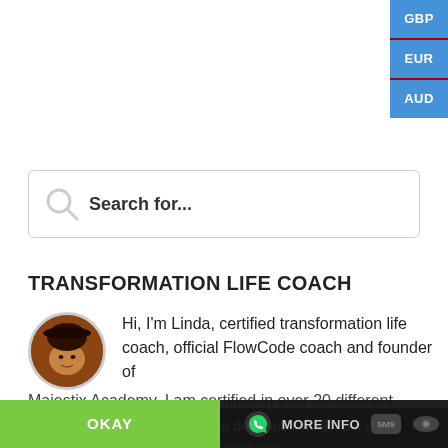[Figure (screenshot): Currency selector buttons (GBP, EUR, AUD) in blue on top-right corner of a website]
[Figure (screenshot): Search bar with magnifying glass icon and placeholder text 'Search for...']
TRANSFORMATION LIFE COACH
Hi, I'm Linda, certified transformation life coach, official FlowCode coach and founder of Majestix Academy. I am certified in over 20 different
This website uses cookies, not the delicious kind🍪, but we do need your consent. Click Okay to continue.
OKAY
MORE INFO